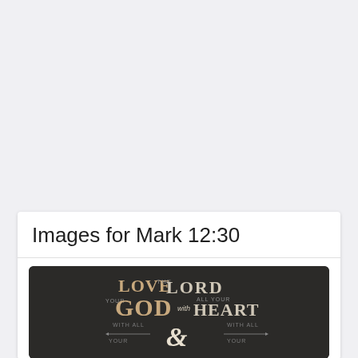Images for Mark 12:30
[Figure (illustration): Dark background typographic image with stylized text reading 'LOVE THE LORD YOUR GOD with ALL YOUR HEART WITH ALL YOUR & WITH ALL YOUR' — a decorative Bible verse design for Mark 12:30]